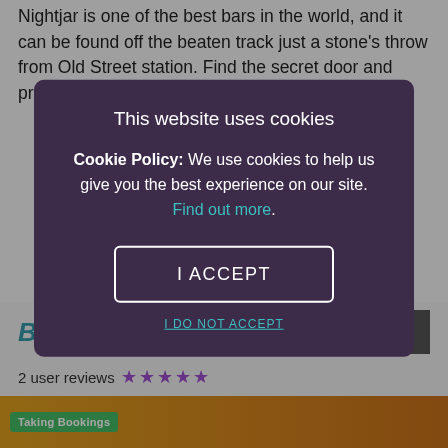Nightjar is one of the best bars in the world, and it can be found off the beaten track just a stone's throw from Old Street station. Find the secret door and prepare to enter a dimmed drinking den where
[Figure (screenshot): Cookie consent modal overlay with dark purple background on a website. Title: 'This website uses cookies'. Body: 'Cookie Policy: We use cookies to help us give you the best experience on our site. Find out more.' Button: 'I ACCEPT'. Link: 'I DO NOT ACCEPT'.]
Blind Spot
2 user reviews ★★★★★
Taking Bookings